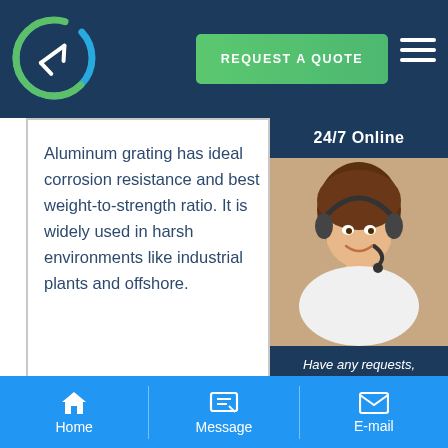[Figure (logo): Circular logo with arrow/sync icon in green and blue on dark navy header background]
[Figure (infographic): Green gradient button reading REQUEST A QUOTE]
Aluminum grating has ideal corrosion resistance and best weight-to-strength ratio. It is widely used in harsh environments like industrial plants and offshore.
[Figure (infographic): 24/7 Online customer service sidebar with agent photo, 'Have any requests, click here.' text and Quotation button]
[Figure (infographic): Footer navigation bar with Home, Message, and E-mail icons]